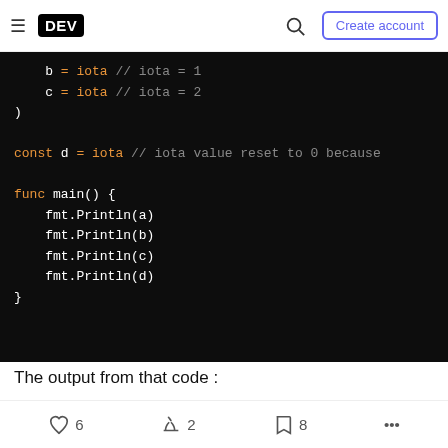≡ DEV  🔍  Create account
[Figure (screenshot): Dark-themed code block showing Go language snippet: b = iota // iota = 1, c = iota // iota = 2, ), const d = iota // iota value reset to 0 because, func main() {, fmt.Println(a), fmt.Println(b), fmt.Println(c), fmt.Println(d), }]
The output from that code :
♡ 6   🔥 2   🔖 8   ...